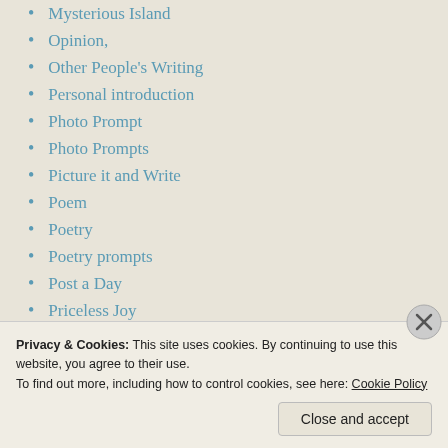Mysterious Island
Opinion,
Other People's Writing
Personal introduction
Photo Prompt
Photo Prompts
Picture it and Write
Poem
Poetry
Poetry prompts
Post a Day
Priceless Joy
Quintet Magazine
Rattling Bones
Reality
Reedsy Prompt
Privacy & Cookies: This site uses cookies. By continuing to use this website, you agree to their use. To find out more, including how to control cookies, see here: Cookie Policy
Close and accept